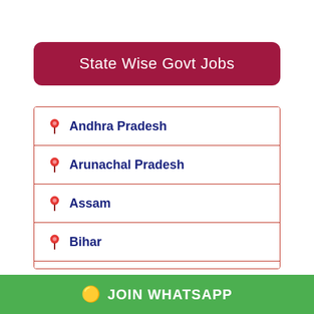State Wise Govt Jobs
Andhra Pradesh
Arunachal Pradesh
Assam
Bihar
Chandigarh
Chhattisgarh
JOIN WHATSAPP